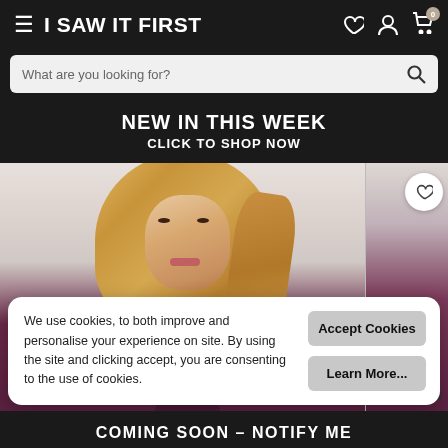≡ I SAW IT FIRST
What are you looking for?
NEW IN THIS WEEK
CLICK TO SHOP NOW
[Figure (photo): Fashion model wearing dark burgundy/plum velvet jacket with long blonde wavy hair, photographed from waist up against a light background. A second image partially visible on the right side.]
We use cookies, to both improve and personalise your experience on site. By using the site and clicking accept, you are consenting to the use of cookies.
Accept Cookies
Learn More...
£6.00
COMING SOON – NOTIFY ME